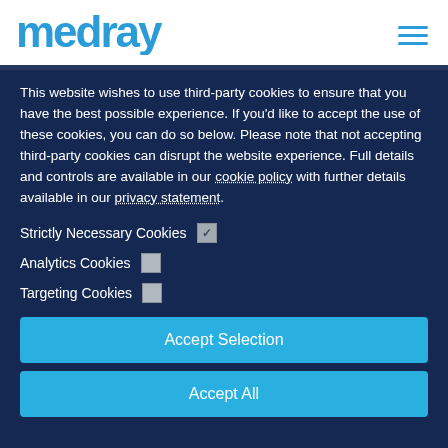[Figure (logo): Medray logo in blue with stylized m and hamburger menu icon]
This website wishes to use third-party cookies to ensure that you have the best possible experience. If you'd like to accept the use of these cookies, you can do so below. Please note that not accepting third-party cookies can disrupt the website experience. Full details and controls are available in our cookie policy with further details available in our privacy statement.
Strictly Necessary Cookies [checked]
Analytics Cookies [unchecked]
Targeting Cookies [unchecked]
Accept Selection
Accept All